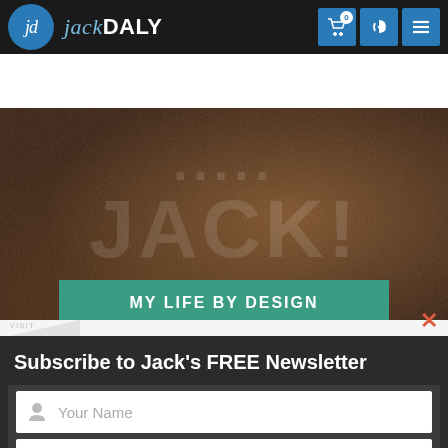[Figure (screenshot): Jack Daly website header with logo (jd in blue circle), brand name 'jackDALY', navigation icons for cart (0), phone, and menu]
[Figure (screenshot): Hero banner with dark textured background showing large faded 'JACK!' text and a teal 'MY LIFE BY DESIGN' button]
YOUTUBE LEARNING
Subscribe to Jack's FREE Newsletter
[Figure (screenshot): Newsletter subscription form with 'Your Name' input, 'johnsmith@example.com' email input, and orange 'Subscribe' button]